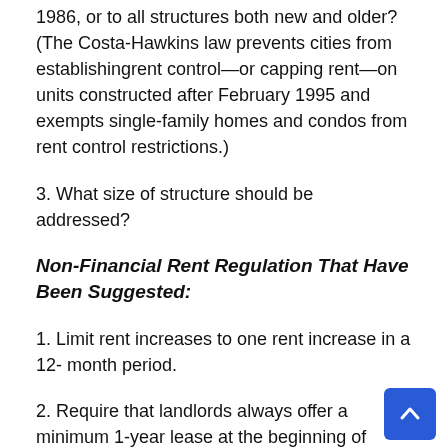1986, or to all structures both new and older? (The Costa-Hawkins law prevents cities from establishingrent control—or capping rent—on units constructed after February 1995 and exempts single-family homes and condos from rent control restrictions.)
3. What size of structure should be addressed?
Non-Financial Rent Regulation That Have Been Suggested:
1. Limit rent increases to one rent increase in a 12- month period.
2. Require that landlords always offer a minimum 1-year lease at the beginning of tenancy and upon each lease renewal. (A one-